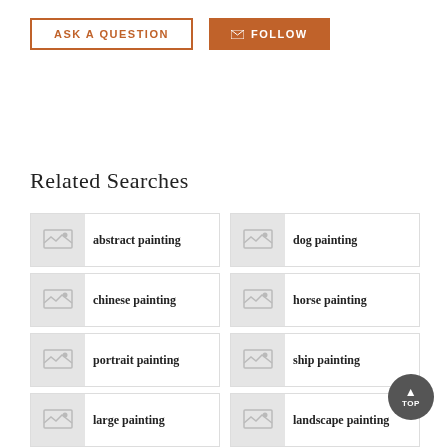ASK A QUESTION
FOLLOW
Related Searches
abstract painting
dog painting
chinese painting
horse painting
portrait painting
ship painting
large painting
landscape painting
miniature painting
california paint…